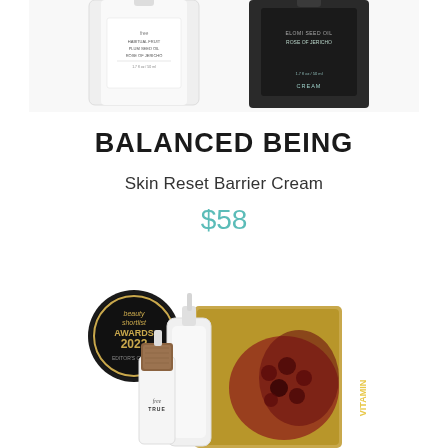[Figure (photo): Top portion of two skincare product bottles/containers on white background - partially cropped at top of page. Left bottle is white with label showing 'HABITUAL FRUIT PLUM SEED OIL ROSE OF JERICHO 1.7 fl oz / 50 ml'. Right container is dark/black.]
BALANCED BEING
Skin Reset Barrier Cream
$58
[Figure (photo): Bottom portion showing a skincare product from 'free TRUE' brand with a wooden-capped dropper bottle, a pump bottle, and a golden card/packaging with berry/fruit imagery. A black circular 'beauty shortlist AWARDS 2022' badge is visible in the upper left of the image.]